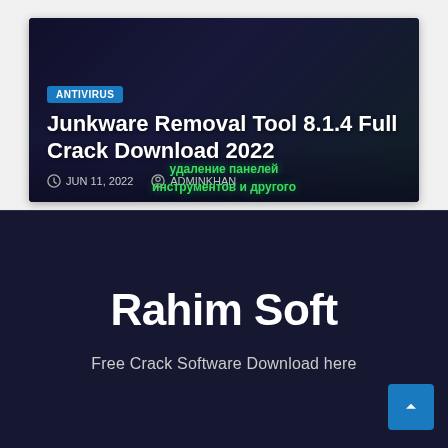[Figure (screenshot): Article card thumbnail with dark blue/green background showing Junkware Removal Tool branding with Russian text overlay]
ANTIVIRUS
Junkware Removal Tool 8.1.4 Full Crack Download 2022
JUN 11, 2022   ADMINKHAN
Rahim Soft
Free Crack Software Download here